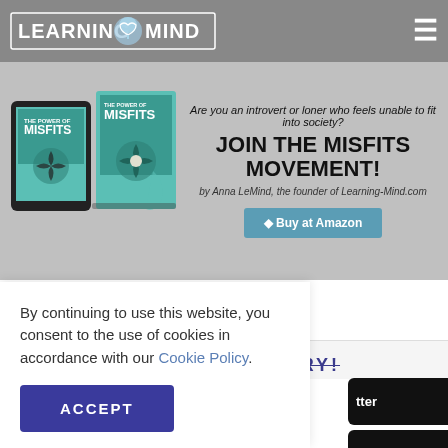LEARNING MIND
[Figure (illustration): Ad banner for 'The Power of Misfits' book showing book cover in print and ebook format alongside promotional text]
Are you an introvert or loner who feels unable to fit into society?
JOIN THE MISFITS MOVEMENT!
by Anna LeMind, the founder of Learning-Mind.com
Buy at Amazon
TAGS: STRESS
SHARE THIS STORY!
By continuing to use this website, you consent to the use of cookies in accordance with our Cookie Policy.
ACCEPT